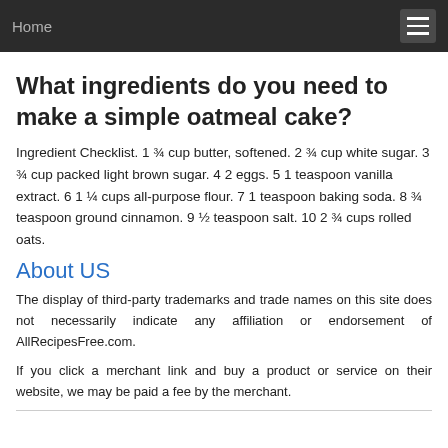Home
What ingredients do you need to make a simple oatmeal cake?
Ingredient Checklist. 1 ¾ cup butter, softened. 2 ¾ cup white sugar. 3 ¾ cup packed light brown sugar. 4 2 eggs. 5 1 teaspoon vanilla extract. 6 1 ¼ cups all-purpose flour. 7 1 teaspoon baking soda. 8 ¾ teaspoon ground cinnamon. 9 ½ teaspoon salt. 10 2 ¾ cups rolled oats.
About US
The display of third-party trademarks and trade names on this site does not necessarily indicate any affiliation or endorsement of AllRecipesFree.com.
If you click a merchant link and buy a product or service on their website, we may be paid a fee by the merchant.